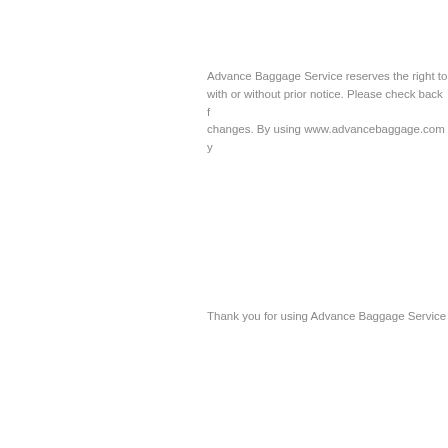Advance Baggage Service reserves the right to with or without prior notice. Please check back f changes. By using www.advancebaggage.com y
Thank you for using Advance Baggage Service